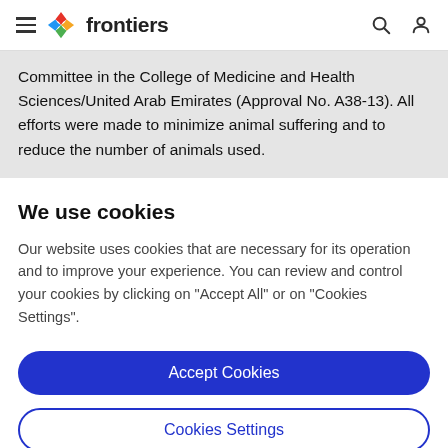frontiers
Committee in the College of Medicine and Health Sciences/United Arab Emirates (Approval No. A38-13). All efforts were made to minimize animal suffering and to reduce the number of animals used.
We use cookies
Our website uses cookies that are necessary for its operation and to improve your experience. You can review and control your cookies by clicking on "Accept All" or on "Cookies Settings".
Accept Cookies
Cookies Settings